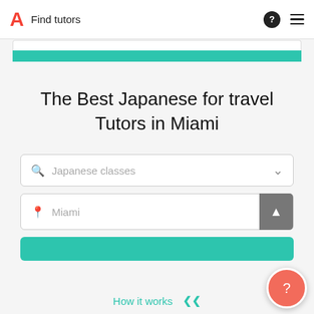Find tutors
The Best Japanese for travel Tutors in Miami
Japanese classes
Miami
How it works